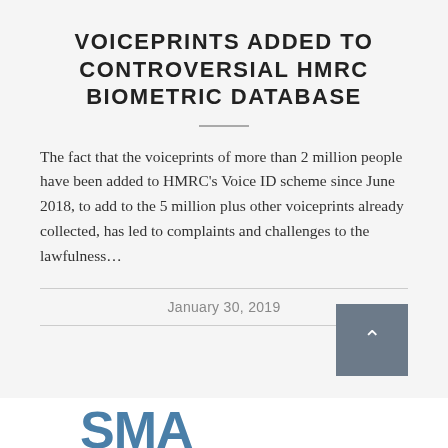VOICEPRINTS ADDED TO CONTROVERSIAL HMRC BIOMETRIC DATABASE
The fact that the voiceprints of more than 2 million people have been added to HMRC's Voice ID scheme since June 2018, to add to the 5 million plus other voiceprints already collected, has led to complaints and challenges to the lawfulness...
January 30, 2019
[Figure (logo): Partial logo text in blue, large letters at bottom of page]